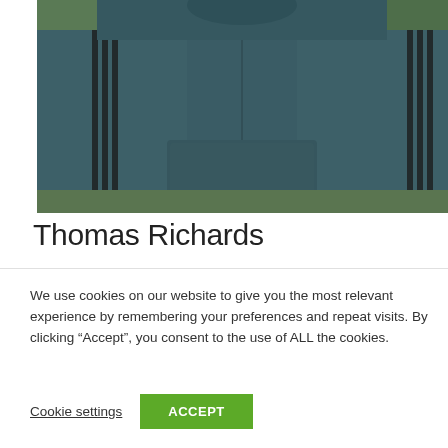[Figure (photo): Person wearing a dark teal/slate blue hoodie with black stripes on the sleeves, photographed outdoors with a blurred green background. Only the torso and arms are visible.]
Thomas Richards
We use cookies on our website to give you the most relevant experience by remembering your preferences and repeat visits. By clicking “Accept”, you consent to the use of ALL the cookies.
Cookie settings   ACCEPT